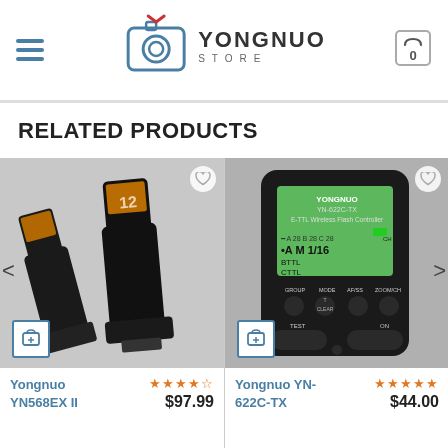Yongnuo Store - navigation header with hamburger menu, logo, and cart
RELATED PRODUCTS
[Figure (photo): Yongnuo YN568EX II flash unit - two flash units photographed from side angle on white background]
[Figure (photo): Yongnuo YN-622C-TX E-TTL Wireless Flash Controller - black device with green LCD display showing GROUP, MODE, AF/SS, ZOOM/CH controls]
Yongnuo YN568EX II
★★★★☆ $97.99
Yongnuo YN-622C-TX
★★★★★ $44.00